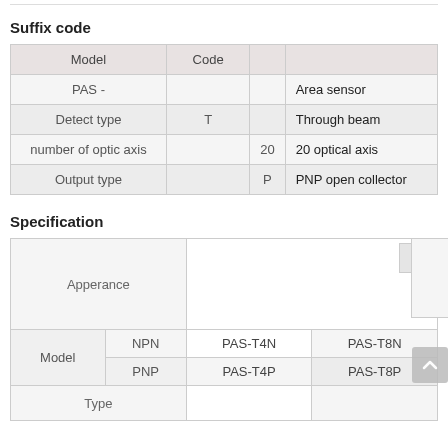Suffix code
| Model | Code |  |  |
| --- | --- | --- | --- |
| PAS - |  |  | Area sensor |
| Detect type | T |  | Through beam |
| number of optic axis |  | 20 | 20 optical axis |
| Output type |  | P | PNP open collector |
Specification
| Apperance |  |  |  |
| --- | --- | --- | --- |
| Model | NPN | PAS-T4N | PAS-T8N | PA... |
| Model | PNP | PAS-T4P | PAS-T8P | PA... |
| Type |  |  |  |  |